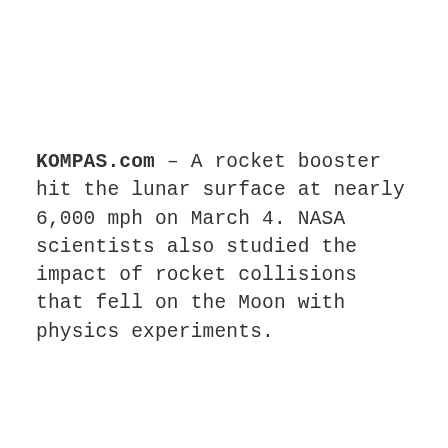KOMPAS.com – A rocket booster hit the lunar surface at nearly 6,000 mph on March 4. NASA scientists also studied the impact of rocket collisions that fell on the Moon with physics experiments.